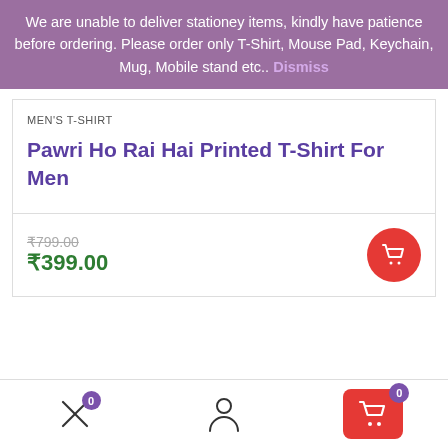We are unable to deliver stationey items, kindly have patience before ordering. Please order only T-Shirt, Mouse Pad, Keychain, Mug, Mobile stand etc.. Dismiss
MEN'S T-SHIRT
Pawri Ho Rai Hai Printed T-Shirt For Men
₹799.00 ₹399.00
Description Additional information Reviews (0)
[Figure (screenshot): Bottom navigation bar with compare icon (badge 0), user/account icon, and shopping cart button (red, badge 0)]